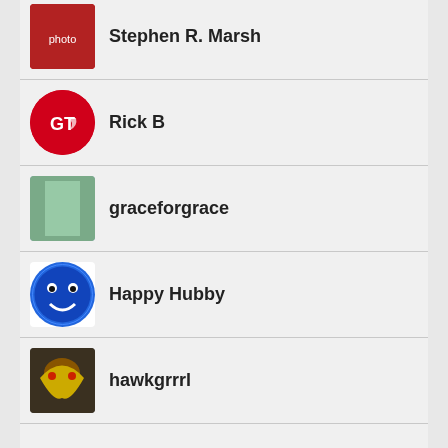Stephen R. Marsh
Rick B
graceforgrace
Happy Hubby
hawkgrrrl
Hedgehog
Rich Brown
jacobhalford
(partial user at bottom)